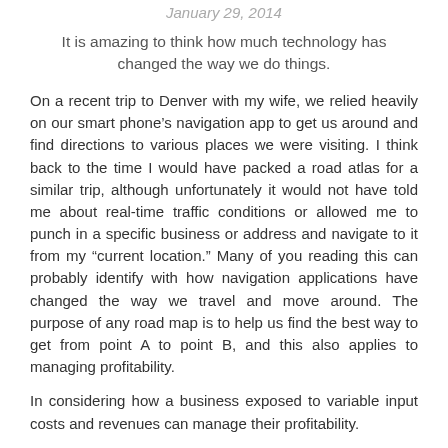January 29, 2014
It is amazing to think how much technology has changed the way we do things.
On a recent trip to Denver with my wife, we relied heavily on our smart phone's navigation app to get us around and find directions to various places we were visiting. I think back to the time I would have packed a road atlas for a similar trip, although unfortunately it would not have told me about real-time traffic conditions or allowed me to punch in a specific business or address and navigate to it from my “current location.” Many of you reading this can probably identify with how navigation applications have changed the way we travel and move around. The purpose of any road map is to help us find the best way to get from point A to point B, and this also applies to managing profitability.
In considering how a business exposed to variable input costs and revenues can manage their profitability.